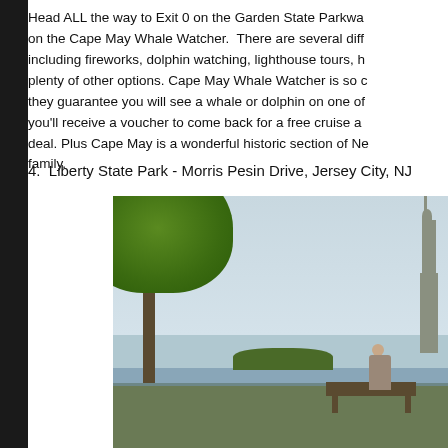Head ALL the way to Exit 0 on the Garden State Parkwa... on the Cape May Whale Watcher. There are several diff... including fireworks, dolphin watching, lighthouse tours, h... plenty of other options. Cape May Whale Watcher is so c... they guarantee you will see a whale or dolphin on one of... you'll receive a voucher to come back for a free cruise a... deal. Plus Cape May is a wonderful historic section of Ne... family.
4. Liberty State Park - Morris Pesin Drive, Jersey City, NJ
[Figure (photo): Photo of Liberty State Park showing a large green tree in the foreground, a person sitting on a bench in the middle ground, water in the background, and the Statue of Liberty visible on the right side against a light sky.]